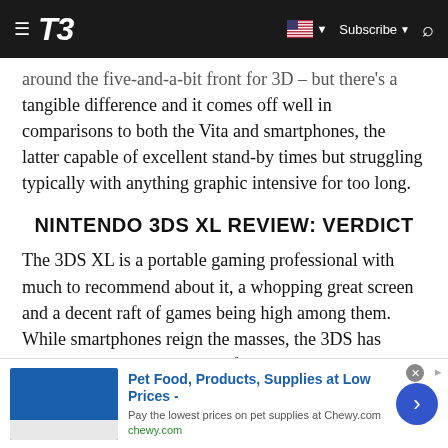T3 — Subscribe
around the five-and-a-bit front for 3D – but there's a tangible difference and it comes off well in comparisons to both the Vita and smartphones, the latter capable of excellent stand-by times but struggling typically with anything graphic intensive for too long.
NINTENDO 3DS XL REVIEW: VERDICT
The 3DS XL is a portable gaming professional with much to recommend about it, a whopping great screen and a decent raft of games being high among them. While smartphones reign the masses, the 3DS has proven there is still a market for dedicated gaming handhelds for at least the near future.
[Figure (other): Advertisement banner: Pet Food, Products, Supplies at Low Prices - Pay the lowest prices on pet supplies at Chewy.com — chewy.com]